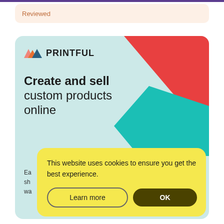Reviewed
[Figure (screenshot): Printful website screenshot showing logo with mountain triangles and headline 'Create and sell custom products online' on a light teal background with red and teal geometric shapes in the top right corner. A cookie consent banner overlays the lower portion with text 'This website uses cookies to ensure you get the best experience.' and two buttons: 'Learn more' and 'OK'.]
This website uses cookies to ensure you get the best experience.
Learn more
OK